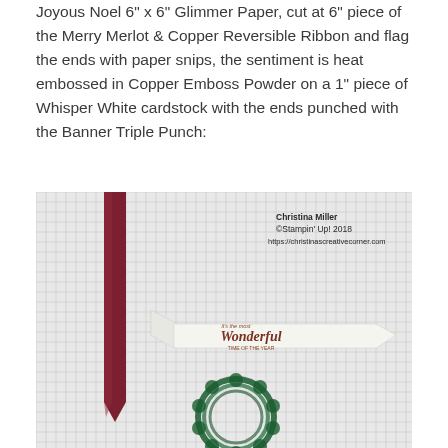Joyous Noel 6" x 6" Glimmer Paper, cut at 6" piece of the Merry Merlot & Copper Reversible Ribbon and flag the ends with paper snips, the sentiment is heat embossed in Copper Emboss Powder on a 1" piece of Whisper White cardstock with the ends punched with the Banner Triple Punch:
[Figure (photo): Photo on grid background showing a dark red/merlot glimmer ribbon with a flagged end on the left, a white banner-shaped cardstock piece with copper heat-embossed text reading 'it's the most Wonderful time of the year', and a green glittery decorative element at the bottom. Watermark: Christina Miller, ©Stampin' Up! 2018, https://christinascreativecorner.com]